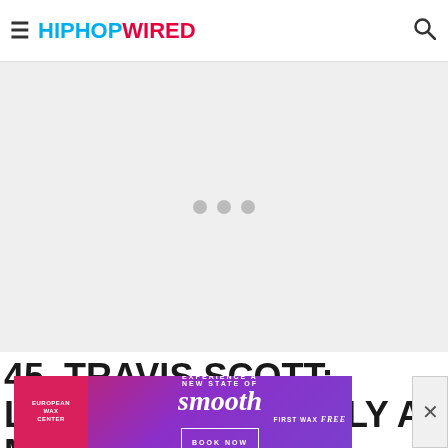HipHopWired
[Figure (other): Large gray loading/ad placeholder area with three gray dots indicating content loading]
45. TRAVIS SCOTT: LOOK MOM I CAN FLY at Moni…
[Figure (other): European Wax Center advertisement banner: 'Experience a New State of smooth – First Wax free – Book Now']